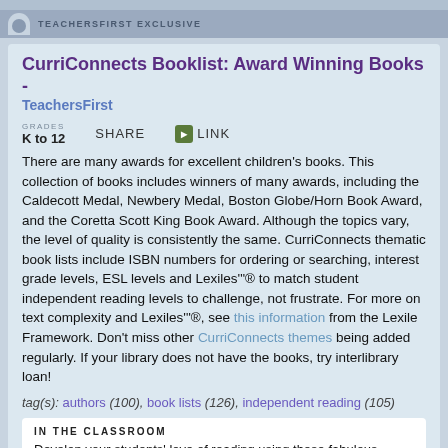TEACHERSFIRST EXCLUSIVE
CurriConnects Booklist: Award Winning Books - TeachersFirst
GRADES K TO 12   SHARE   > LINK
There are many awards for excellent children's books. This collection of books includes winners of many awards, including the Caldecott Medal, Newbery Medal, Boston Globe/Horn Book Award, and the Coretta Scott King Book Award. Although the topics vary, the level of quality is consistently the same. CurriConnects thematic book lists include ISBN numbers for ordering or searching, interest grade levels, ESL levels and Lexiles'"® to match student independent reading levels to challenge, not frustrate. For more on text complexity and Lexiles'"®, see this information from the Lexile Framework. Don't miss other CurriConnects themes being added regularly. If your library does not have the books, try interlibrary loan!
tag(s): authors (100), book lists (126), independent reading (105)
IN THE CLASSROOM
Develop your students' love of reading using these fabulous books. This collection could accompany a unit about famous authors and